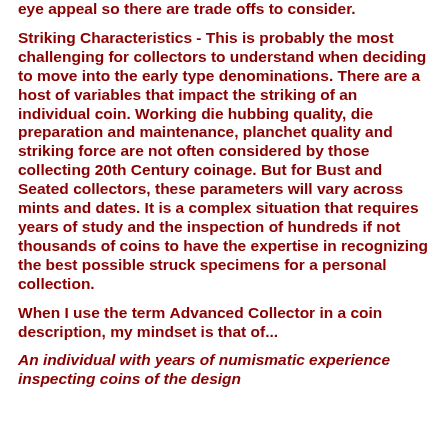eye appeal so there are trade offs to consider.
Striking Characteristics - This is probably the most challenging for collectors to understand when deciding to move into the early type denominations. There are a host of variables that impact the striking of an individual coin. Working die hubbing quality, die preparation and maintenance, planchet quality and striking force are not often considered by those collecting 20th Century coinage. But for Bust and Seated collectors, these parameters will vary across mints and dates. It is a complex situation that requires years of study and the inspection of hundreds if not thousands of coins to have the expertise in recognizing the best possible struck specimens for a personal collection.
When I use the term Advanced Collector in a coin description, my mindset is that of...
An individual with years of numismatic experience inspecting coins of the design